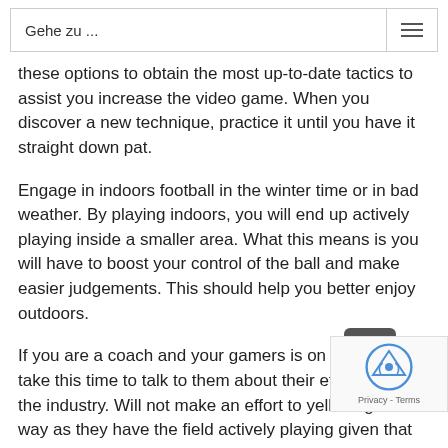Gehe zu ...
these options to obtain the most up-to-date tactics to assist you increase the video game. When you discover a new technique, practice it until you have it straight down pat.
Engage in indoors football in the winter time or in bad weather. By playing indoors, you will end up actively playing inside a smaller area. What this means is you will have to boost your control of the ball and make easier judgements. This should help you better enjoy outdoors.
If you are a coach and your gamers is on the counter, take this time to talk to them about their efficiency on the industry. Will not make an effort to yell things their way as they have the field actively playing given that this may be rather distracting and may destroy their game.
You will need shoes with fantastic tread to traction the ground even just in muddy, slippery conditions. One of several approaches the pros prefer is to apply delicate